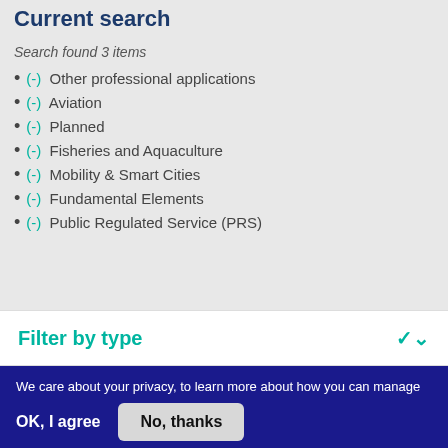Current search
Search found 3 items
(-) Other professional applications
(-) Aviation
(-) Planned
(-) Fisheries and Aquaculture
(-) Mobility & Smart Cities
(-) Fundamental Elements
(-) Public Regulated Service (PRS)
Filter by type
We care about your privacy, to learn more about how you can manage your consent in relation to cookies and analytics click here
OK, I agree   No, thanks